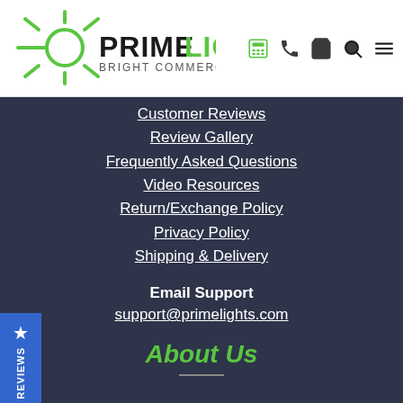[Figure (logo): PrimeLights logo with sun/rays graphic and text 'PRIMELIGHTS BRIGHT COMMERCIAL LEDS' plus header icons (calculator, phone, cart, search, menu)]
Customer Reviews
Review Gallery
Frequently Asked Questions
Video Resources
Return/Exchange Policy
Privacy Policy
Shipping & Delivery
Email Support
support@primelights.com
About Us